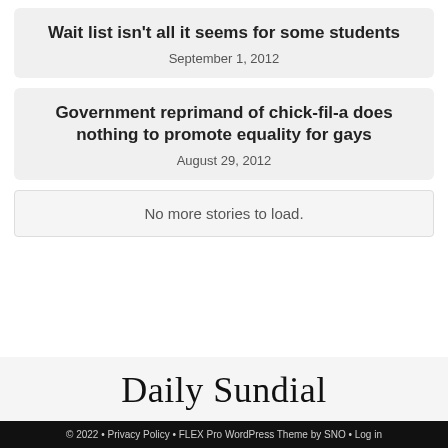Wait list isn’t all it seems for some students
September 1, 2012
Government reprimand of chick-fil-a does nothing to promote equality for gays
August 29, 2012
No more stories to load.
Daily Sundial
© 2022 • Privacy Policy • FLEX Pro WordPress Theme by SNO • Log in